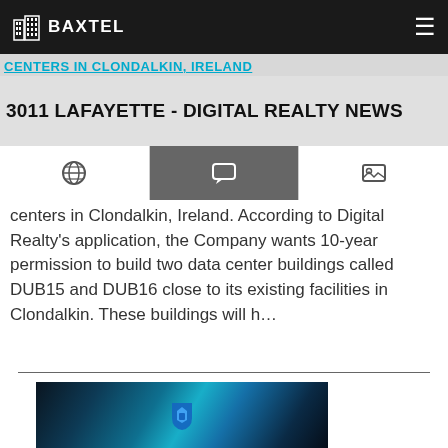Baxtel — navigation bar with logo and hamburger menu
Centers in Clondalkin, Ireland
3011 LAFAYETTE - DIGITAL REALTY NEWS
centers in Clondalkin, Ireland. According to Digital Realty's application, the Company wants 10-year permission to build two data center buildings called DUB15 and DUB16 close to its existing facilities in Clondalkin. These buildings will h…
[Figure (photo): Interior photo of a data center with blue lighting and a Digital Realty logo visible on a wall panel]